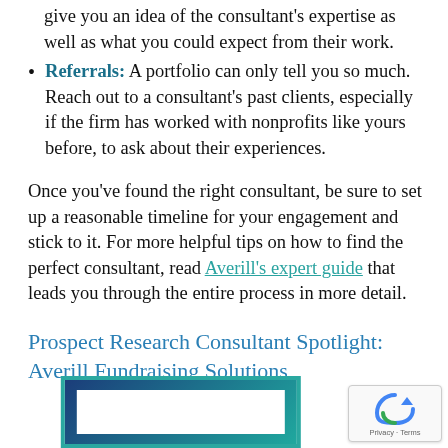give you an idea of the consultant's expertise as well as what you could expect from their work.
Referrals: A portfolio can only tell you so much. Reach out to a consultant's past clients, especially if the firm has worked with nonprofits like yours before, to ask about their experiences.
Once you've found the right consultant, be sure to set up a reasonable timeline for your engagement and stick to it. For more helpful tips on how to find the perfect consultant, read Averill's expert guide that leads you through the entire process in more detail.
Prospect Research Consultant Spotlight: Averill Fundraising Solutions
[Figure (illustration): Partial view of a framed graphic with a teal and dark blue gradient border and white interior, likely the Averill Fundraising Solutions logo or branding image.]